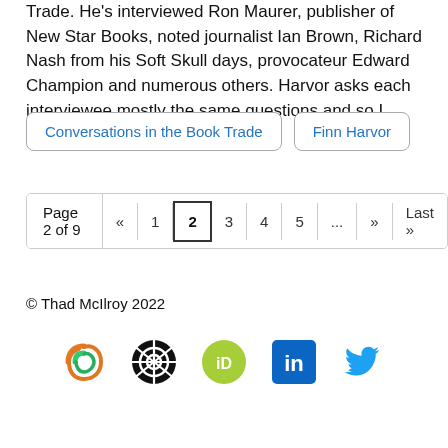Trade. He's interviewed Ron Maurer, publisher of New Star Books, noted journalist Ian Brown, Richard Nash from his Soft Skull days, provocateur Edward Champion and numerous others. Harvor asks each interviewee mostly the same questions and so I found...
Conversations in the Book Trade
Finn Harvor
Page 2 of 9  «  1  2  3  4  5  ...  »  Last »
© Thad McIlroy 2022
[Figure (logo): Social media icons row: Feedburner/RSS spiral icon (orange/green), Atom feed icon (black circle), ORCID iD icon (green circle with white ID), LinkedIn icon (blue square with white 'in'), Twitter bird icon (blue)]